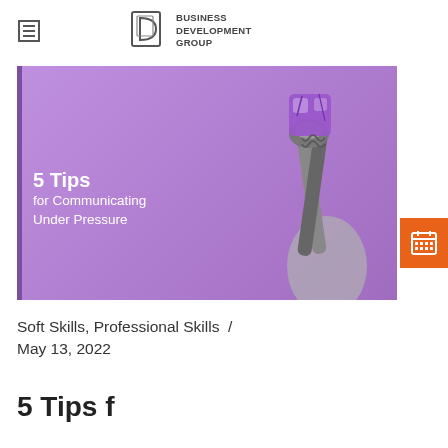Business Development Group
[Figure (illustration): Purple background promotional image showing '5 Tips for Communicating Under Pressure' with a black-and-white photo of pliers gripping a purple cube]
Soft Skills, Professional Skills  /  May 13, 2022
5 Tips f…